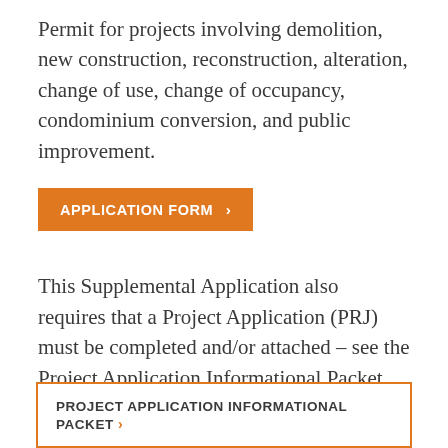Permit for projects involving demolition, new construction, reconstruction, alteration, change of use, change of occupancy, condominium conversion, and public improvement.
APPLICATION FORM ›
This Supplemental Application also requires that a Project Application (PRJ) must be completed and/or attached – see the Project Application Informational Packet for instructions.
PROJECT APPLICATION INFORMATIONAL PACKET ›